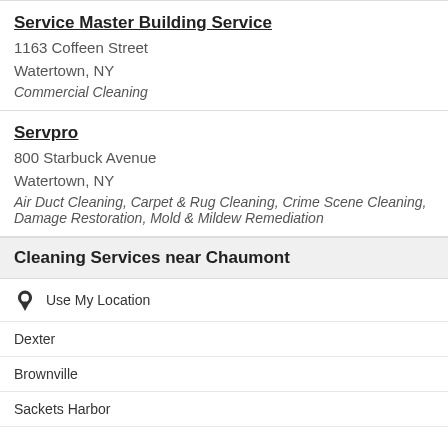Service Master Building Service
1163 Coffeen Street
Watertown, NY
Commercial Cleaning
Servpro
800 Starbuck Avenue
Watertown, NY
Air Duct Cleaning, Carpet & Rug Cleaning, Crime Scene Cleaning, Damage Restoration, Mold & Mildew Remediation
Cleaning Services near Chaumont
Use My Location
Dexter
Brownville
Sackets Harbor